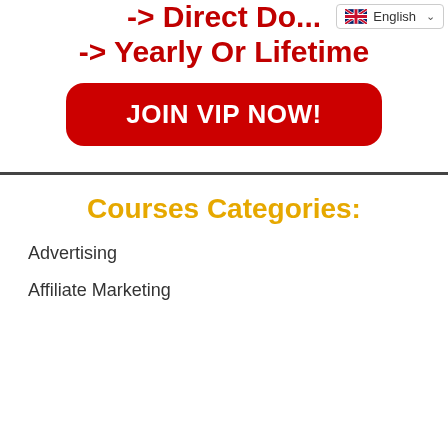-> Direct Do... -> Yearly Or Lifetime
[Figure (screenshot): Red rounded button with white bold text reading JOIN VIP NOW!]
[Figure (screenshot): Language selector widget showing British flag and 'English' with dropdown chevron]
Courses Categories:
Advertising
Affiliate Marketing